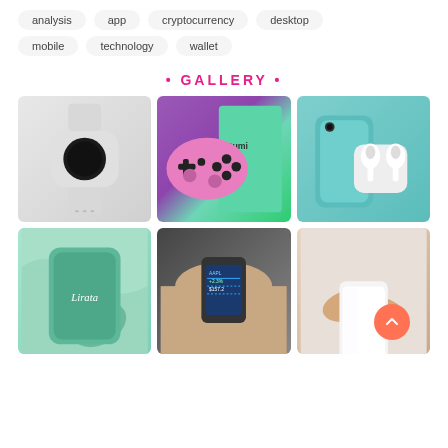analysis
app
cryptocurrency
desktop
mobile
technology
wallet
• GALLERY •
[Figure (photo): White smartwatch with round black dial on white background]
[Figure (photo): Pink gaming controller on purple background with green product packaging]
[Figure (photo): Teal phone case with white wireless earbuds and charging case on gray background]
[Figure (photo): Mint green phone on green marble background with text 'Lirata']
[Figure (photo): Person wearing a smartwatch with blue screen showing stock data]
[Figure (photo): Hands holding a white smartphone]